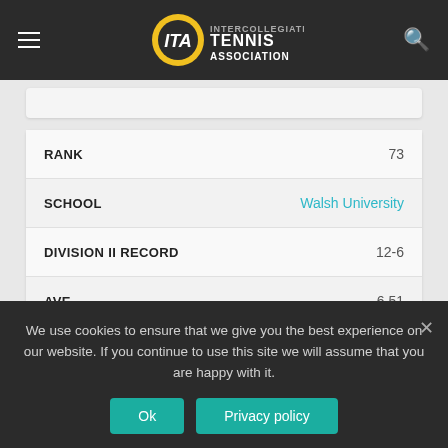[Figure (logo): ITA Intercollegiate Tennis Association logo with navigation bar icons]
| Field | Value |
| --- | --- |
| RANK | 73 |
| SCHOOL | Walsh University |
| DIVISION II RECORD | 12-6 |
| AVE. | 6.51 |
| PREV. | 66 |
| Field | Value |
| --- | --- |
| RANK | 74 |
We use cookies to ensure that we give you the best experience on our website. If you continue to use this site we will assume that you are happy with it.
Ok | Privacy policy